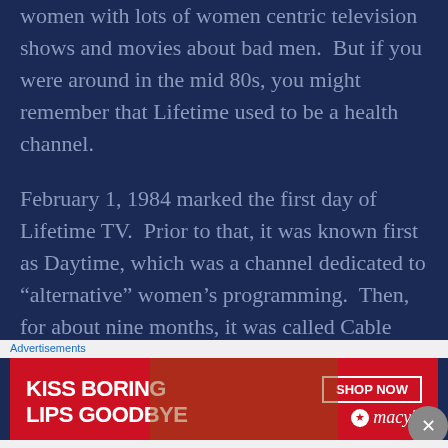women with lots of women centric television shows and movies about bad men.  But if you were around in the mid 80s, you might remember that Lifetime used to be a health channel.
February 1, 1984 marked the first day of Lifetime TV.  Prior to that, it was known first as Daytime, which was a channel dedicated to “alternative” women’s programming.  Then, for about nine months, it was called Cable Health Network.  Then, in November 1982
Advertisements
[Figure (other): Advertisement banner for Macy's with text 'KISS BORING LIPS GOODBYE' and 'SHOP NOW' button with Macy's star logo on red background]